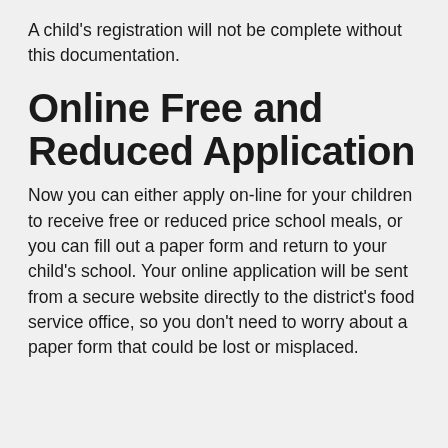A child's registration will not be complete without this documentation.
Online Free and Reduced Application
Now you can either apply on-line for your children to receive free or reduced price school meals, or you can fill out a paper form and return to your child's school. Your online application will be sent from a secure website directly to the district's food service office, so you don't need to worry about a paper form that could be lost or misplaced.